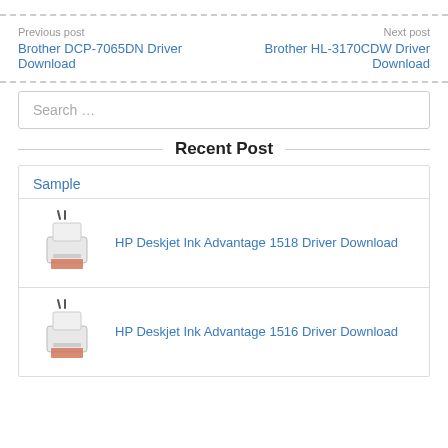Previous post
Brother DCP-7065DN Driver Download
Next post
Brother HL-3170CDW Driver Download
Search …
Recent Post
Sample
HP Deskjet Ink Advantage 1518 Driver Download
HP Deskjet Ink Advantage 1516 Driver Download